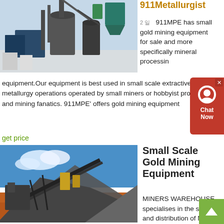[Figure (photo): Industrial gold mining/mineral processing equipment with large metal tanks, pipes, and machinery in outdoor setting with blue sky]
911Metallurgist
2 일   911MPE has small gold mining equipment for sale and more specifically mineral processing equipment.Our equipment is best used in small scale extractive metallurgy operations operated by small miners or hobbyist prospectors and mining fanatics. 911MPE' offers gold mining equipment
get price
[Figure (photo): Large scale mining operation with conveyor belts, heavy machinery, and large piles of crushed ore/gravel on red earth under blue sky with clouds]
Small Scale Gold Mining Equipment
MINERS WAREHOUSE specialises in the supply and distribution of Mining